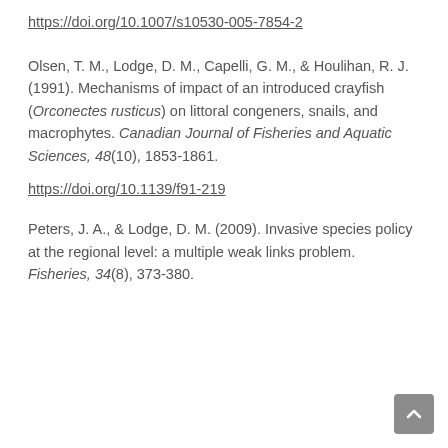https://doi.org/10.1007/s10530-005-7854-2
Olsen, T. M., Lodge, D. M., Capelli, G. M., & Houlihan, R. J. (1991). Mechanisms of impact of an introduced crayfish (Orconectes rusticus) on littoral congeners, snails, and macrophytes. Canadian Journal of Fisheries and Aquatic Sciences, 48(10), 1853-1861.
https://doi.org/10.1139/f91-219
Peters, J. A., & Lodge, D. M. (2009). Invasive species policy at the regional level: a multiple weak links problem. Fisheries, 34(8), 373-380.